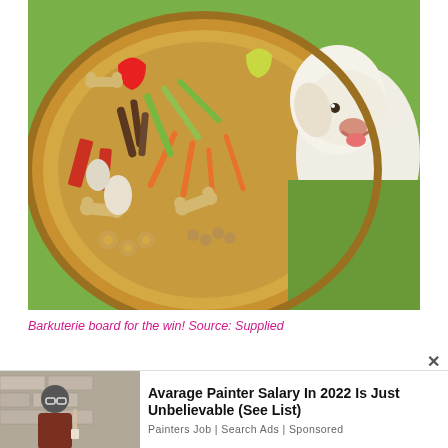[Figure (photo): A wooden bowl filled with a barkuterie board — dog treats including bone-shaped biscuits, carrots, apple slices, zucchini sticks, red treats, and small round crackers — next to a happy white golden retriever dog sitting on green grass, viewed from above.]
Barkuterie board for the win! Source: Supplied
[Figure (photo): Advertisement image showing a man painting a wall, alongside text: 'Avarage Painter Salary In 2022 Is Just Unbelievable (See List)' with source 'Painters Job | Search Ads | Sponsored']